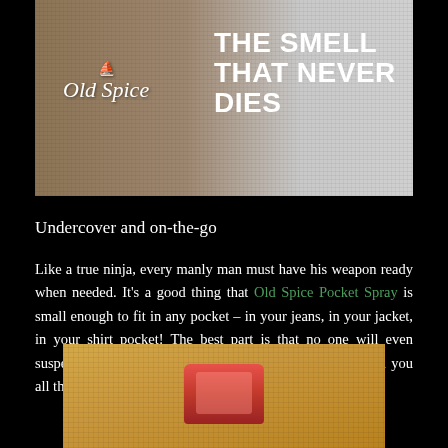[Figure (photo): Old Spice advertisement banner showing fabric texture background (khaki/olive colored), Old Spice logo in white italic script on the left, and bold white text on the right reading 'THE SMELL THAT NEVER DIES']
Undercover and on-the-go
Like a true ninja, every manly man must have his weapon ready when needed. It's a good thing that Old Spice Pocket Spray is small enough to fit in any pocket – in your jeans, in your jacket, in your shirt pocket! The best part is that no one will even suspect you have this super powerful fragrance spray with you all the time.
[Figure (photo): Close-up photo of a small red Old Spice Pocket Spray product sitting on a golden/mustard yellow fabric surface]